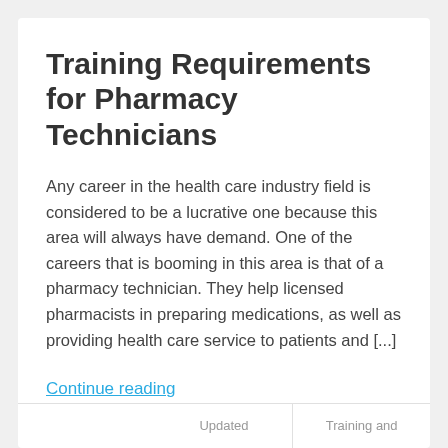Training Requirements for Pharmacy Technicians
Any career in the health care industry field is considered to be a lucrative one because this area will always have demand. One of the careers that is booming in this area is that of a pharmacy technician. They help licensed pharmacists in preparing medications, as well as providing health care service to patients and [...]
Continue reading
Updated | Training and